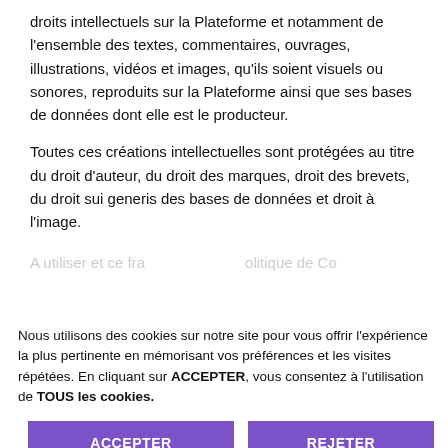droits intellectuels sur la Plateforme et notamment de l'ensemble des textes, commentaires, ouvrages, illustrations, vidéos et images, qu'ils soient visuels ou sonores, reproduits sur la Plateforme ainsi que ses bases de données dont elle est le producteur.
Toutes ces créations intellectuelles sont protégées au titre du droit d'auteur, du droit des marques, droit des brevets, du droit sui generis des bases de données et droit à l'image.
Nous utilisons des cookies sur notre site pour vous offrir l'expérience la plus pertinente en mémorisant vos préférences et les visites répétées. En cliquant sur ACCEPTER, vous consentez à l'utilisation de TOUS les cookies.
ACCEPTER
REJETER
Réglage des cookies